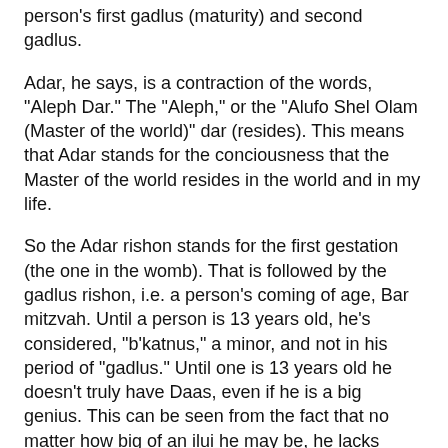person's first gadlus (maturity) and second gadlus.
Adar, he says, is a contraction of the words, "Aleph Dar." The "Aleph," or the "Alufo Shel Olam (Master of the world)" dar (resides). This means that Adar stands for the conciousness that the Master of the world resides in the world and in my life.
So the Adar rishon stands for the first gestation (the one in the womb). That is followed by the gadlus rishon, i.e. a person's coming of age, Bar mitzvah. Until a person is 13 years old, he's considered, "b'katnus," a minor, and not in his period of "gadlus." Until one is 13 years old he doesn't truly have Daas, even if he is a big genius. This can be seen from the fact that no matter how big of an ilui he may be, he lacks Daas (conciousness that Hashem is present in the world) to the extent that if he is mekadesh an isha, "ain chosheshin l'kedushav."
But even after one is 13 and reaches his gadlus rishon, that is till followed by an ibur sheni, a second period of development and katnus. This means that even after one